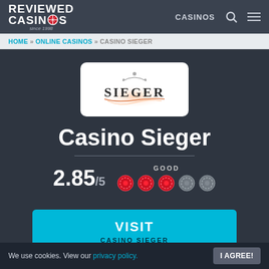REVIEWED CASINOS since 1998 | CASINOS
HOME » ONLINE CASINOS » CASINO SIEGER
[Figure (logo): Casino Sieger logo — stylized metallic 'SIEGER' text with ornate decoration on white background]
Casino Sieger
2.85/5  GOOD  ●●●○○
VISIT CASINO SIEGER
We use cookies. View our privacy policy.  I AGREE!